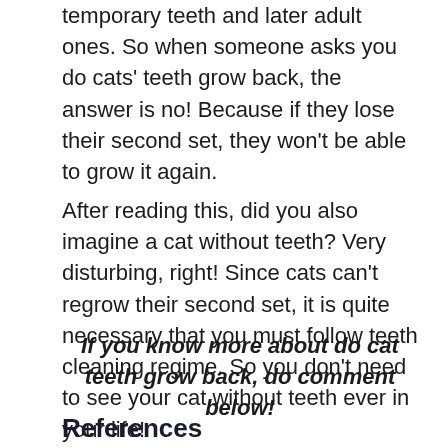temporary teeth and later adult ones. So when someone asks you do cats' teeth grow back, the answer is no! Because if they lose their second set, they won't be able to grow it again.
After reading this, did you also imagine a cat without teeth? Very disturbing, right! Since cats can't regrow their second set, it is quite necessary that you must follow teeth cleaning regime. So you don't need to see your cat without teeth ever in your life!
If you know more about do cat teeth grow back, do comment below!
References